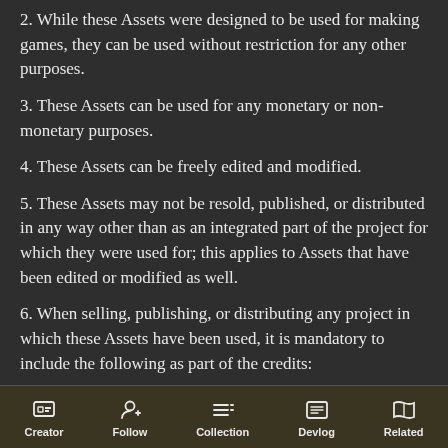2. While these Assets were designed to be used for making games, they can be used without restriction for any other purposes.
3. These Assets can be used for any monetary or non-monetary purposes.
4. These Assets can be freely edited and modified.
5. These Assets may not be resold, published, or distributed in any way other than as an integrated part of the project for which they were used for; this applies to Assets that have been edited or modified as well.
6. When selling, publishing, or distributing any project in which these Assets have been used, it is mandatory to include the following as part of the credits:
Creator  Follow  Collection  Devlog  Related